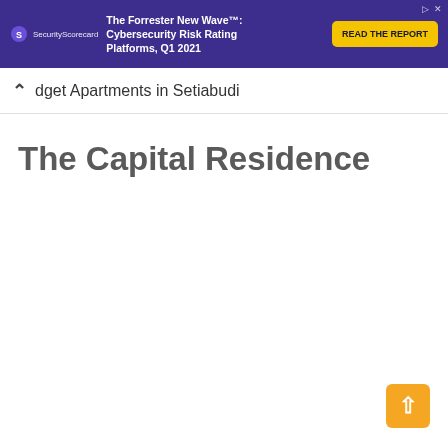[Figure (screenshot): Advertisement banner for SecurityScorecard - The Forrester New Wave: Cybersecurity Risk Rating Platforms, Q1 2021 with READ THE REPORT button]
dget Apartments in Setiabudi
The Capital Residence